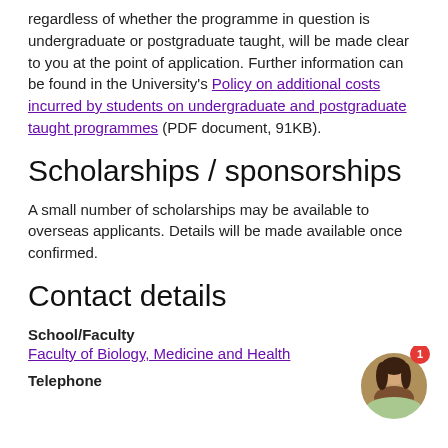regardless of whether the programme in question is undergraduate or postgraduate taught, will be made clear to you at the point of application. Further information can be found in the University's Policy on additional costs incurred by students on undergraduate and postgraduate taught programmes (PDF document, 91KB).
Scholarships / sponsorships
A small number of scholarships may be available to overseas applicants. Details will be made available once confirmed.
Contact details
School/Faculty
Faculty of Biology, Medicine and Health
Telephone
[Figure (photo): Circular avatar photo of a young woman with dark hair, outdoors with a blurred background. A red notification badge with the number 1 appears in the top-right corner of the circle.]